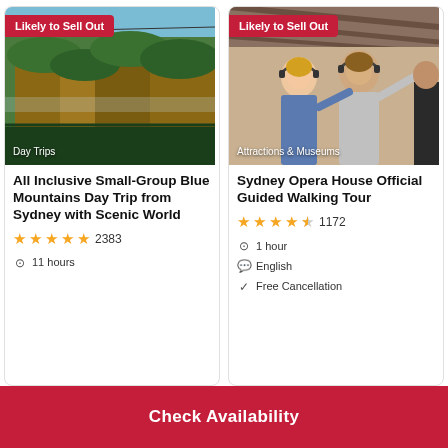[Figure (photo): Blue Mountains landscape with steep sandstone cliffs and lush green vegetation, cable car visible overhead. Category label: Day Trips. Likely to Sell Out badge visible.]
[Figure (photo): Two people (woman and man) wearing headphones looking upward in an interior space. Category label: Attractions & Museums. Likely to Sell Out badge visible.]
All Inclusive Small-Group Blue Mountains Day Trip from Sydney with Scenic World
★★★★★ 2383
⊙ 11 hours
Sydney Opera House Official Guided Walking Tour
★★★★½ 1172
⊙ 1 hour
English
Free Cancellation
Check Availability